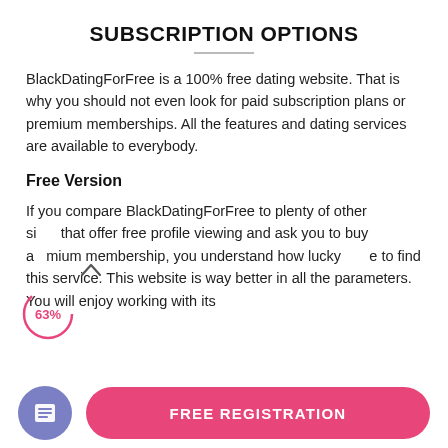SUBSCRIPTION OPTIONS
BlackDatingForFree is a 100% free dating website. That is why you should not even look for paid subscription plans or premium memberships. All the features and dating services are available to everybody.
Free Version
If you compare BlackDatingForFree to plenty of other si that offer free profile viewing and ask you to buy a premium membership, you understand how lucky you are to find this service. This website is way better in all the parameters. You will enjoy working with its